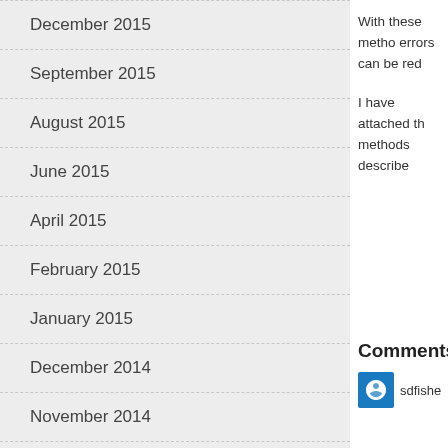December 2015
September 2015
August 2015
June 2015
April 2015
February 2015
January 2015
December 2014
November 2014
October 2014
June 2014
February 2014
January 2014
December 2013
With these metho errors can be red
I have attached th methods describe
Comments
sdfishe